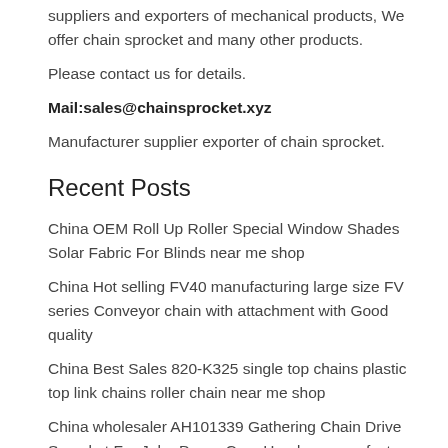suppliers and exporters of mechanical products, We offer chain sprocket and many other products.
Please contact us for details.
Mail:sales@chainsprocket.xyz
Manufacturer supplier exporter of chain sprocket.
Recent Posts
China OEM Roll Up Roller Special Window Shades Solar Fabric For Blinds near me shop
China Hot selling FV40 manufacturing large size FV series Conveyor chain with attachment with Good quality
China Best Sales 820-K325 single top chains plastic top link chains roller chain near me shop
China wholesaler AH101339 Gathering Chain Drive Sprocket For John Deere Corn Head near me factory